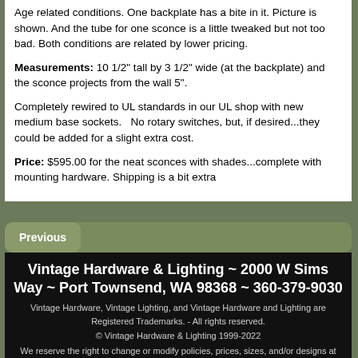Age related conditions. One backplate has a bite in it. Picture is shown. And the tube for one sconce is a little tweaked but not too bad. Both conditions are related by lower pricing.
Measurements: 10 1/2" tall by 3 1/2" wide (at the backplate) and the sconce projects from the wall 5".
Completely rewired to UL standards in our UL shop with new medium base sockets.   No rotary switches, but, if desired...they could be added for a slight extra cost.
Price: $595.00 for the neat sconces with shades...complete with mounting hardware. Shipping is a bit extra
Previous
Vintage Hardware & Lighting ~ 2000 W Sims Way ~ Port Townsend, WA 98368 ~ 360-379-9030
Vintage Hardware, Vintage Lighting, and Vintage Hardware and Lighting are Registered Trademarks. - All rights reserved.
© Vintage Hardware & Lighting 1999-2022
We reserve the right to change or modify policies, prices, sizes, and/or designs at anytime, without prior notification.